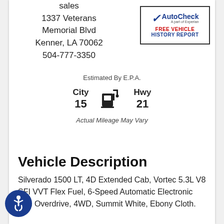sales
1337 Veterans Memorial Blvd
Kenner, LA 70062
504-777-3350
[Figure (logo): AutoCheck - A part of Experian. FREE VEHICLE HISTORY REPORT logo with blue checkmark.]
Estimated By E.P.A.
City 15   Hwy 21
Actual Mileage May Vary
Vehicle Description
Silverado 1500 LT, 4D Extended Cab, Vortec 5.3L V8 SFI VVT Flex Fuel, 6-Speed Automatic Electronic with Overdrive, 4WD, Summit White, Ebony Cloth.